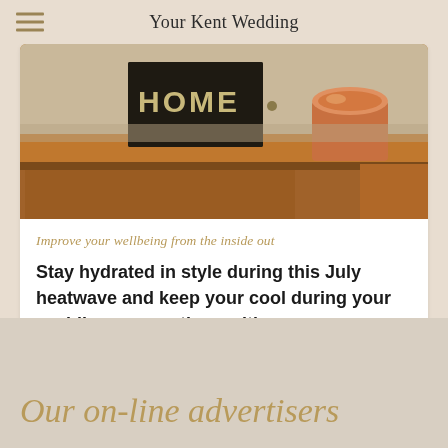Your Kent Wedding
[Figure (photo): Wooden table surface with a book labeled HOME and a copper metallic cup/vessel, warm tones]
Improve your wellbeing from the inside out
Stay hydrated in style during this July heatwave and keep your cool during your wedding preparations with...
Our on-line advertisers